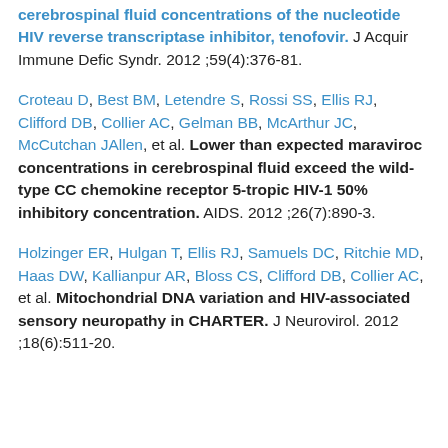cerebrospinal fluid concentrations of the nucleotide HIV reverse transcriptase inhibitor, tenofovir. J Acquir Immune Defic Syndr. 2012 ;59(4):376-81.
Croteau D, Best BM, Letendre S, Rossi SS, Ellis RJ, Clifford DB, Collier AC, Gelman BB, McArthur JC, McCutchan JAllen, et al. Lower than expected maraviroc concentrations in cerebrospinal fluid exceed the wild-type CC chemokine receptor 5-tropic HIV-1 50% inhibitory concentration. AIDS. 2012 ;26(7):890-3.
Holzinger ER, Hulgan T, Ellis RJ, Samuels DC, Ritchie MD, Haas DW, Kallianpur AR, Bloss CS, Clifford DB, Collier AC, et al. Mitochondrial DNA variation and HIV-associated sensory neuropathy in CHARTER. J Neurovirol. 2012 ;18(6):511-20.